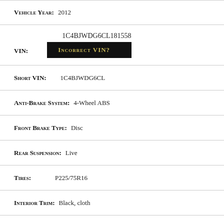Vehicle Year: 2012
VIN: 1C4BJWDG6CL181558 INCORRECT VIN?
Short VIN: 1C4BJWDG6CL
Anti-Brake System: 4-Wheel ABS
Front Brake Type: Disc
Rear Suspension: Live
Tires: P225/75R16
Interior Trim: Black, cloth